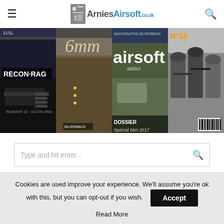ArniesAirsoft.co.uk — navigation header with menu icon, logo, and search icon
[Figure (photo): Collage of airsoft magazine covers including Recon-RAG, 6mm, Airsoft Addict, and another magazine showing tactical gear and armed players]
Type and hit enter...
Cookies are used improve your experience. We'll assume you're ok with this, but you can opt-out if you wish.
Accept
Read More